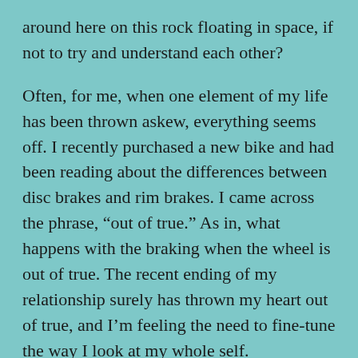around here on this rock floating in space, if not to try and understand each other?
Often, for me, when one element of my life has been thrown askew, everything seems off. I recently purchased a new bike and had been reading about the differences between disc brakes and rim brakes. I came across the phrase, “out of true.” As in, what happens with the braking when the wheel is out of true. The recent ending of my relationship surely has thrown my heart out of true, and I’m feeling the need to fine-tune the way I look at my whole self.
One thing that has helped this process has